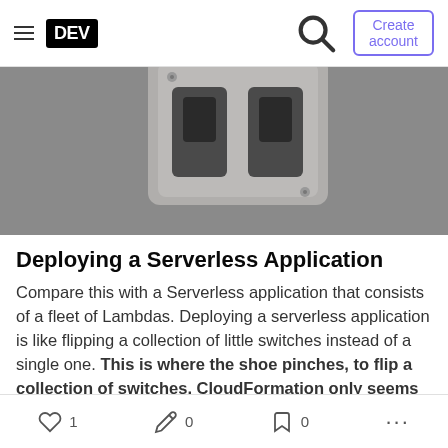DEV | Create account
[Figure (photo): Overhead view of electrical switches/outlets on a gray wall plate, photographed from above on a gray surface]
Deploying a Serverless Application
Compare this with a Serverless application that consists of a fleet of Lambdas. Deploying a serverless application is like flipping a collection of little switches instead of a single one. This is where the shoe pinches, to flip a collection of switches, CloudFormation only seems to have one hand,
1 · 0 · 0